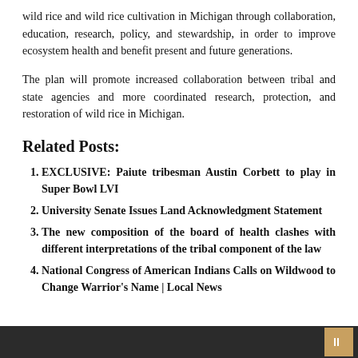wild rice and wild rice cultivation in Michigan through collaboration, education, research, policy, and stewardship, in order to improve ecosystem health and benefit present and future generations.
The plan will promote increased collaboration between tribal and state agencies and more coordinated research, protection, and restoration of wild rice in Michigan.
Related Posts:
EXCLUSIVE: Paiute tribesman Austin Corbett to play in Super Bowl LVI
University Senate Issues Land Acknowledgment Statement
The new composition of the board of health clashes with different interpretations of the tribal component of the law
National Congress of American Indians Calls on Wildwood to Change Warrior's Name | Local News